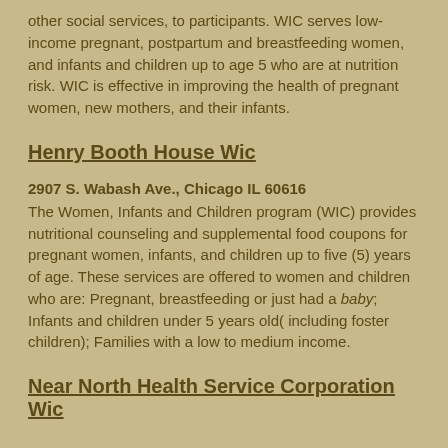other social services, to participants. WIC serves low-income pregnant, postpartum and breastfeeding women, and infants and children up to age 5 who are at nutrition risk. WIC is effective in improving the health of pregnant women, new mothers, and their infants.
Henry Booth House Wic
2907 S. Wabash Ave., Chicago IL 60616
The Women, Infants and Children program (WIC) provides nutritional counseling and supplemental food coupons for pregnant women, infants, and children up to five (5) years of age. These services are offered to women and children who are: Pregnant, breastfeeding or just had a baby; Infants and children under 5 years old( including foster children); Families with a low to medium income.
Near North Health Service Corporation Wic